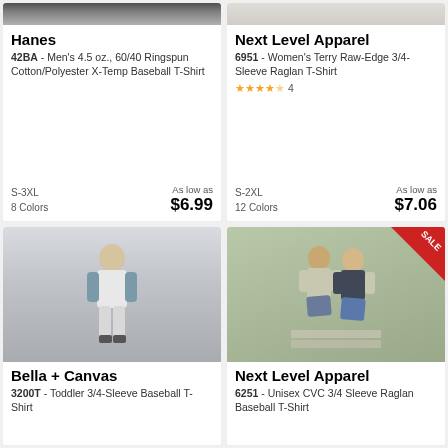[Figure (photo): Product photo top portion - Hanes baseball t-shirt model (torso/hands visible), dark background]
Hanes
42BA - Men's 4.5 oz., 60/40 Ringspun Cotton/Polyester X-Temp Baseball T-Shirt
S-3XL  8 Colors  As low as $6.99
[Figure (photo): Product photo top portion - Next Level Apparel women's raglan shirt, light/cream background]
Next Level Apparel
6951 - Women's Terry Raw-Edge 3/4-Sleeve Raglan T-Shirt
★★★★½ 4
S-2XL  12 Colors  As low as $7.06
[Figure (photo): Bella + Canvas toddler 3/4-sleeve baseball t-shirt worn by blonde toddler boy standing against white wall]
Bella + Canvas
3200T - Toddler 3/4-Sleeve Baseball T-Shirt
[Figure (photo): Next Level Apparel 6251 worn by young woman and man sitting on steps outdoors, SALE badge in corner]
Next Level Apparel
6251 - Unisex CVC 3/4 Sleeve Raglan Baseball T-Shirt